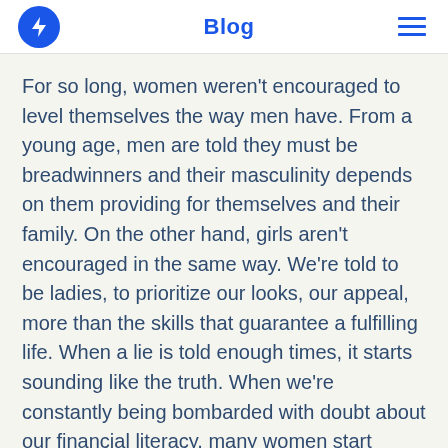Blog
For so long, women weren't encouraged to level themselves the way men have. From a young age, men are told they must be breadwinners and their masculinity depends on them providing for themselves and their family. On the other hand, girls aren't encouraged in the same way. We're told to be ladies, to prioritize our looks, our appeal, more than the skills that guarantee a fulfilling life. When a lie is told enough times, it starts sounding like the truth. When we're constantly being bombarded with doubt about our financial literacy, many women start believing the myth themselves and shying away from taking on the beast. We are still fighting against the gender pay gap, the most basic foundation of our relationship with money, and coupled with these tropes, it may seem a little daunting to even begin this journey. Becoming